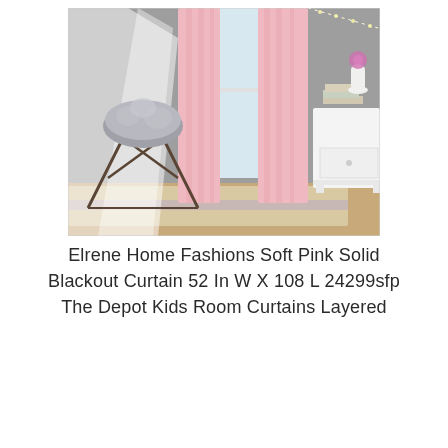[Figure (photo): A children's bedroom scene showing pink blackout curtains hanging on a window, a white canopy with sheer fabric, a fluffy gray sheepskin-covered butterfly chair on a metal frame, a white nightstand with books and a purple flower in a white vase, and a neutral woven rug on a light wood floor. The walls are gray.]
Elrene Home Fashions Soft Pink Solid Blackout Curtain 52 In W X 108 L 24299sfp The Depot Kids Room Curtains Layered